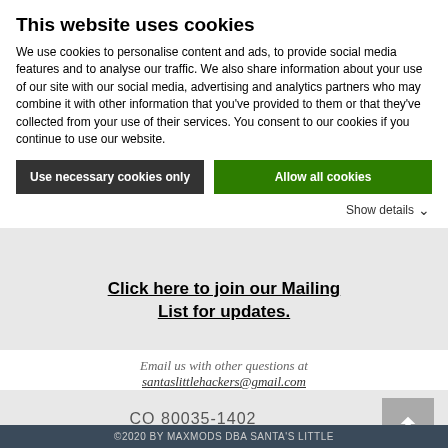This website uses cookies
We use cookies to personalise content and ads, to provide social media features and to analyse our traffic. We also share information about your use of our site with our social media, advertising and analytics partners who may combine it with other information that you've provided to them or that they've collected from your use of their services. You consent to our cookies if you continue to use our website.
Use necessary cookies only
Allow all cookies
Show details ▾
Click here to join our Mailing List for updates.
Email us with other questions at santaslittlehackers@gmail.com
CO 80035-1402
©2020 BY MAXMODS DBA SANTA'S LITTLE